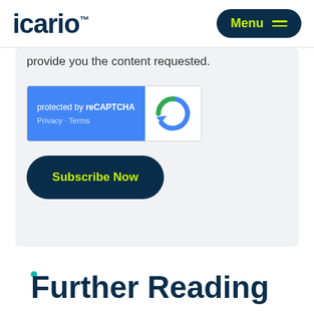Icario — Menu
provide you the content requested.
[Figure (other): Google reCAPTCHA widget. Blue left panel with text 'protected by reCAPTCHA' and links 'Privacy - Terms'. White right panel with reCAPTCHA logo (blue arrow circle).]
[Figure (other): Dark navy rounded pill button with yellow-green text 'Subscribe Now']
Further Reading